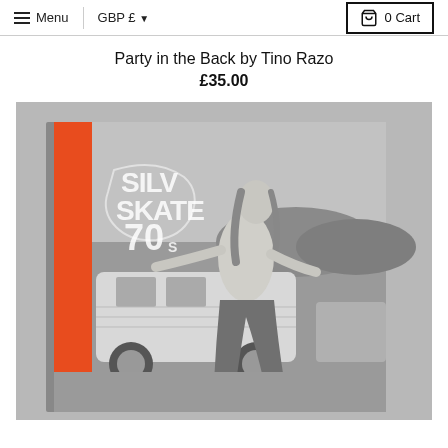Menu  GBP £ ▾   0 Cart
Party in the Back by Tino Razo
£35.00
[Figure (photo): A book with an orange spine and a black-and-white photo cover showing a shirtless skateboarder with long hair performing a trick in front of a VW bus, with a psychedelic 'Silver Skates 70s' logo on the cover.]